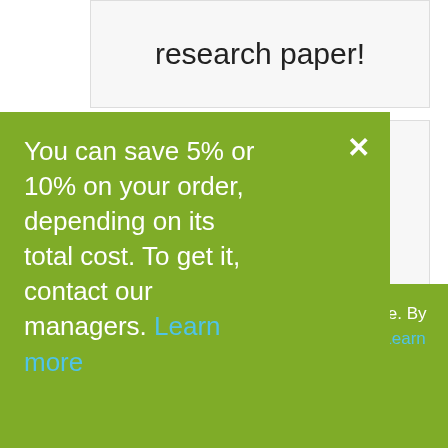research paper!
u: only $9.90/page
You can save 5% or 10% on your order, depending on its total cost. To get it, contact our managers. Learn more
Our site uses cookies to offer you the best service. By continuing, you are agreeing to receive cookies Learn more
Accept Cookies